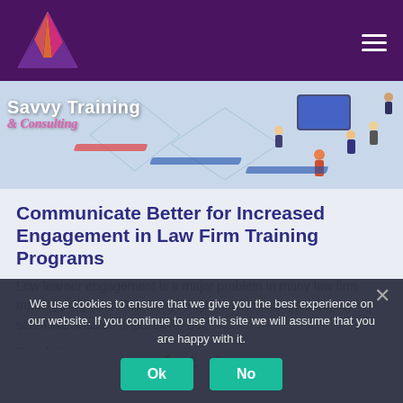Savvy Training & Consulting
[Figure (illustration): Isometric illustration of people interacting with digital devices and screens, representing technology training]
Communicate Better for Increased Engagement in Law Firm Training Programs
Low learner engagement is a major problem in many law firm training programs. Reaching a high level of engagement can seem like Mission Impossible. But,
Read More »
1  2  3…
We use cookies to ensure that we give you the best experience on our website. If you continue to use this site we will assume that you are happy with it.